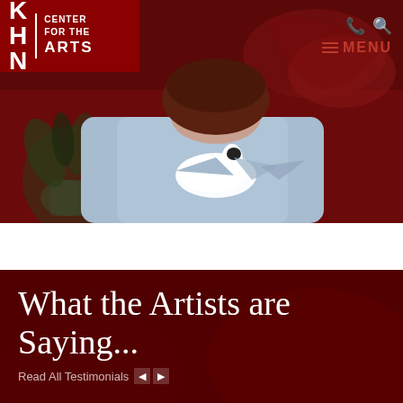KHN Center for the Arts — MENU
[Figure (photo): Person wearing a light blue sweatshirt with a white bird/crane graphic on the front, standing in front of artwork on a dark red/maroon background]
What the Artists are Saying...
Read All Testimonials